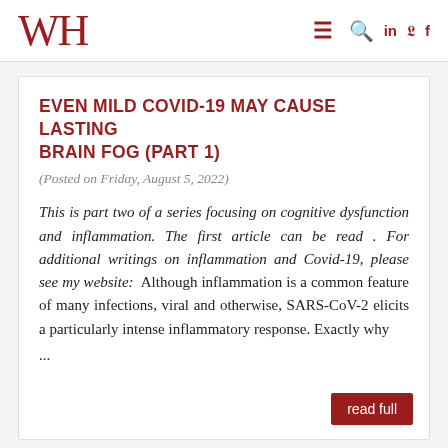WH
EVEN MILD COVID-19 MAY CAUSE LASTING BRAIN FOG (PART 1)
(Posted on Friday, August 5, 2022)
This is part two of a series focusing on cognitive dysfunction and inflammation. The first article can be read . For additional writings on inflammation and Covid-19, please see my website: Although inflammation is a common feature of many infections, viral and otherwise, SARS-CoV-2 elicits a particularly intense inflammatory response. Exactly why ...